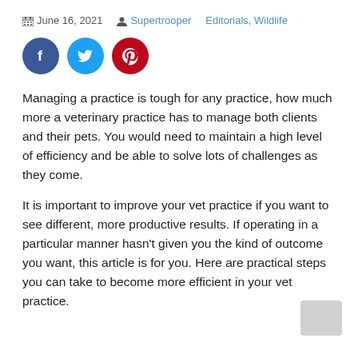June 16, 2021  Supertrooper  Editorials, Wildlife
[Figure (illustration): Social media share icons: Facebook (blue circle with f), Twitter (light blue circle with bird), Pinterest (red circle with P)]
Managing a practice is tough for any practice, how much more a veterinary practice has to manage both clients and their pets. You would need to maintain a high level of efficiency and be able to solve lots of challenges as they come.
It is important to improve your vet practice if you want to see different, more productive results. If operating in a particular manner hasn't given you the kind of outcome you want, this article is for you. Here are practical steps you can take to become more efficient in your vet practice.